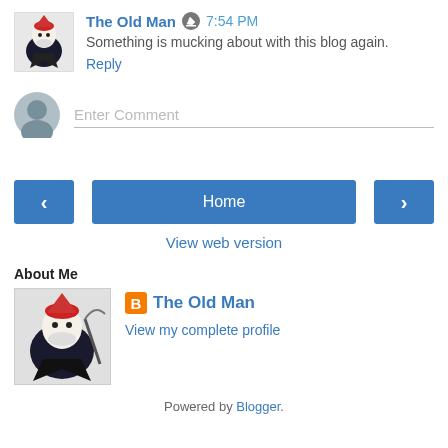[Figure (illustration): Small avatar image of a cartoon character (The Old Man blog avatar)]
The Old Man  7:54 PM
Something is mucking about with this blog again.
Reply
[Figure (illustration): Generic grey user avatar circle]
Enter Comment
< Home >
View web version
About Me
[Figure (illustration): Large avatar image of The Old Man blog logo]
The Old Man
View my complete profile
Powered by Blogger.